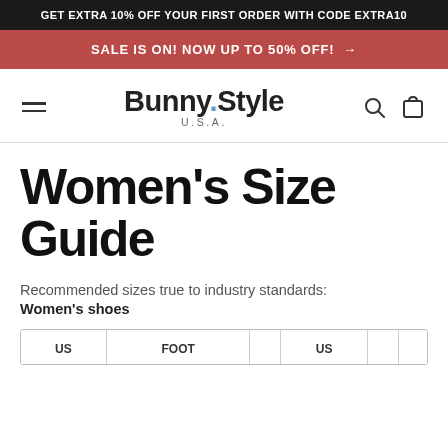GET EXTRA 10% OFF YOUR FIRST ORDER WITH CODE EXTRA10
SALE IS ON! NOW UP TO 50% OFF! →
[Figure (logo): Bunny.Style U.S.A. logo with hamburger menu, search icon, and bag icon in navigation bar]
Women's Size Guide
Recommended sizes true to industry standards:
Women's shoes
| US | FOOT | US |  |  |  |
| --- | --- | --- | --- | --- | --- |